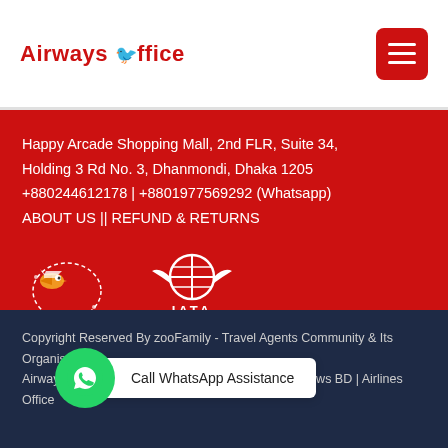Airways Office
Happy Arcade Shopping Mall, 2nd FLR, Suite 34, Holding 3 Rd No. 3, Dhanmondi, Dhaka 1205 +880244612178 | +8801977569292 (Whatsapp) ABOUT US || REFUND & RETURNS
[Figure (logo): Airways Office bird mascot logo and IATA logo]
Copyright Reserved By zooFamily - Travel Agents Community & Its Organisers: Airways Office | Travelzoo BD Ltd | zoo IT | Travel News BD | Airlines Office
[Figure (infographic): WhatsApp call assistance button with green WhatsApp icon circle and white label reading Call WhatsApp Assistance]